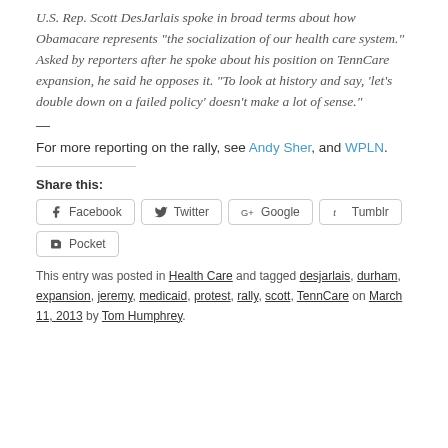U.S. Rep. Scott DesJarlais spoke in broad terms about how Obamacare represents “the socialization of our health care system.” Asked by reporters after he spoke about his position on TennCare expansion, he said he opposes it. “To look at history and say, ‘let’s double down on a failed policy’ doesn’t make a lot of sense.”
—
For more reporting on the rally, see Andy Sher, and WPLN.
Share this:
Facebook  Twitter  Google+  Tumblr  Pocket
This entry was posted in Health Care and tagged desjarlais, durham, expansion, jeremy, medicaid, protest, rally, scott, TennCare on March 11, 2013 by Tom Humphrey.